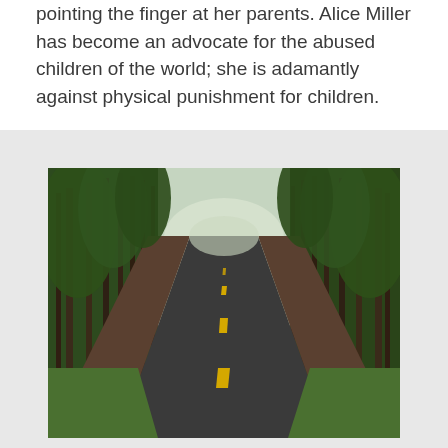pointing the finger at her parents. Alice Miller has become an advocate for the abused children of the world; she is adamantly against physical punishment for children.
[Figure (photo): A straight road lined with tall pine trees on both sides, converging to a vanishing point in the distance. The road is dark asphalt with a yellow center dashed line. Green foliage and forest floor visible on both sides.]